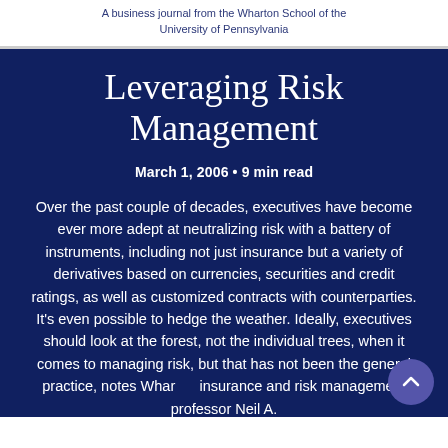A business journal from the Wharton School of the University of Pennsylvania
Leveraging Risk Management
March 1, 2006 • 9 min read
Over the past couple of decades, executives have become ever more adept at neutralizing risk with a battery of instruments, including not just insurance but a variety of derivatives based on currencies, securities and credit ratings, as well as customized contracts with counterparties. It's even possible to hedge the weather. Ideally, executives should look at the forest, not the individual trees, when it comes to managing risk, but that has not been the general practice, notes Wharton insurance and risk management professor Neil A.